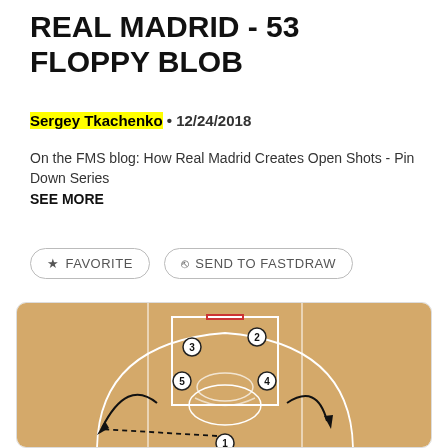REAL MADRID - 53 FLOPPY BLOB
Sergey Tkachenko • 12/24/2018
On the FMS blog: How Real Madrid Creates Open Shots - Pin Down Series SEE MORE
FAVORITE   SEND TO FASTDRAW
[Figure (illustration): Basketball court diagram showing Real Madrid 53 Floppy BLOB play. Players numbered 1-5 are shown on half court. Player 1 is at the bottom with a dashed line pass going to the left corner (player 2 area). Players 3, 4, and 5 are positioned near the key/elbow area. Curved arrows show player movement paths cutting around the perimeter.]